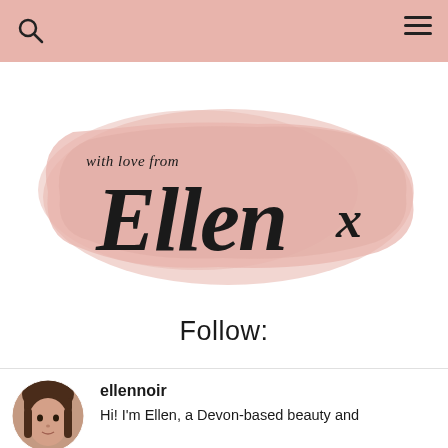Navigation bar with search and hamburger menu
[Figure (logo): Blog logo with pink watercolor brush stroke background. Text reads 'with love from' in small italic script above large cursive text 'Ellen x']
Follow:
ellennoir
Hi! I'm Ellen, a Devon-based beauty and